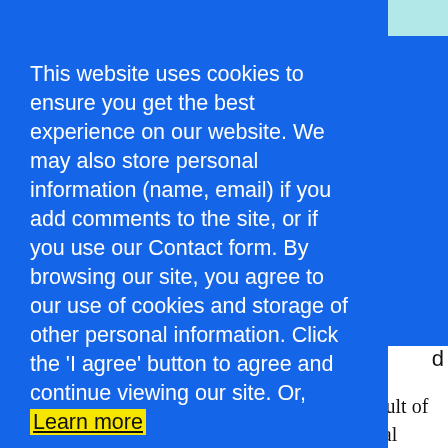By Robert Bruce Thompson on June 30th, 2011 in
This website uses cookies to ensure you get the best experience on our website. We may also store personal information (name, email) if you add comments to the site, or if you use our Contact form. By browsing our site, you agree to our use of cookies and storage of other personal information. Click the 'I agree' button to agree and continue viewing our site. Or, Learn more
I agree - OK with me! (Click here)
better than publishers, and many are worse.
All of this was predictable and predicted, a result of the ebook tsunami that has destroyed traditional publishers' and agents' business